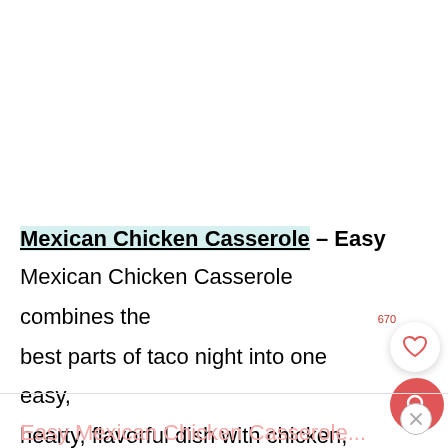Mexican Chicken Casserole – Easy Mexican Chicken Casserole combines the best parts of taco night into one easy, hearty, flavorful dish with chicken, rice, beans, cheese, and tortilla chips or Doritos.